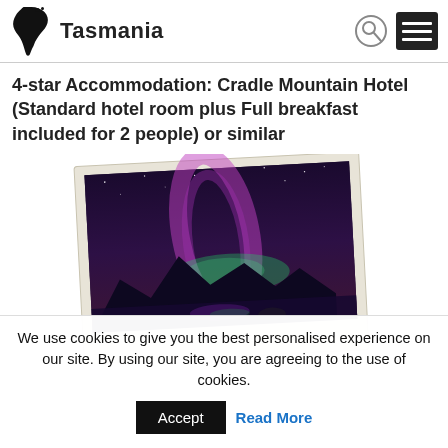Tasmania
4-star Accommodation: Cradle Mountain Hotel (Standard hotel room plus Full breakfast included for 2 people) or similar
[Figure (photo): A polaroid-style photograph showing a night sky with aurora australis (southern lights) over a mountain lake landscape, likely Cradle Mountain area in Tasmania. Text on photo reads 'Mt Norfolk'.]
We use cookies to give you the best personalised experience on our site. By using our site, you are agreeing to the use of cookies.